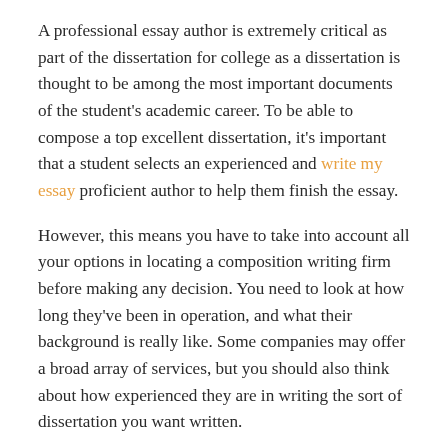A professional essay author is extremely critical as part of the dissertation for college as a dissertation is thought to be among the most important documents of the student's academic career. To be able to compose a top excellent dissertation, it's important that a student selects an experienced and write my essay proficient author to help them finish the essay.
However, this means you have to take into account all your options in locating a composition writing firm before making any decision. You need to look at how long they've been in operation, and what their background is really like. Some companies may offer a broad array of services, but you should also think about how experienced they are in writing the sort of dissertation you want written.
Essay writing solutions can be very competitive